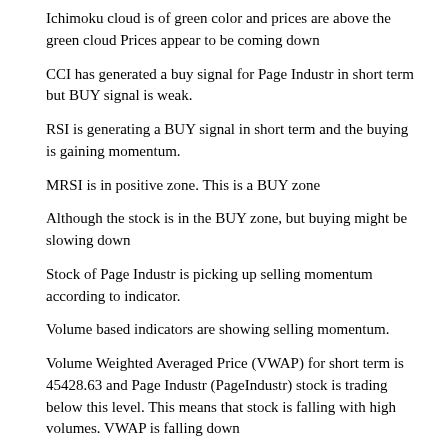Ichimoku cloud is of green color and prices are above the green cloud Prices appear to be coming down
CCI has generated a buy signal for Page Industr in short term but BUY signal is weak.
RSI is generating a BUY signal in short term and the buying is gaining momentum.
MRSI is in positive zone. This is a BUY zone
Although the stock is in the BUY zone, but buying might be slowing down
Stock of Page Industr is picking up selling momentum according to indicator.
Volume based indicators are showing selling momentum.
Volume Weighted Averaged Price (VWAP) for short term is 45428.63 and Page Industr (PageIndustr) stock is trading below this level. This means that stock is falling with high volumes. VWAP is falling down
People seem to be coming out and selling the Page Industr (PageIndustr) stock. Volume based technical analysis of Page Industr (PageIndustr) stock is negative.